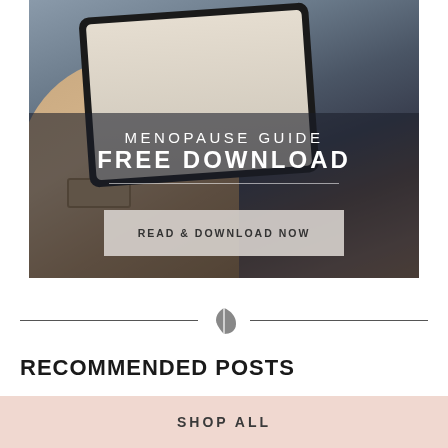[Figure (photo): Advertisement banner image showing a person holding a tablet device, with text overlay reading 'MENOPAUSE GUIDE FREE DOWNLOAD' and a button 'READ & DOWNLOAD NOW']
RECOMMENDED POSTS
SHOP ALL